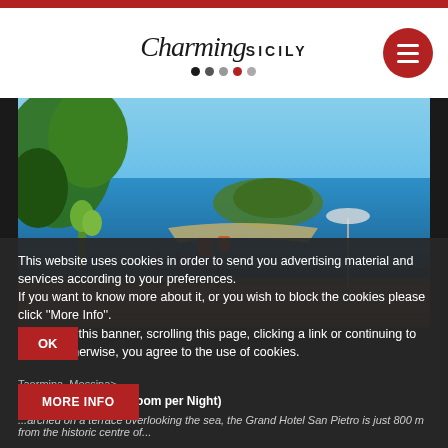Charming Sicily
[Figure (photo): Scenic coastal view from a terrace in Taormina, Sicily, with cactus plants, terracotta pots, iron railings, a beach cove with turquoise sea, and a small island in the background]
This website uses cookies in order to send you advertising material and services according to your preferences.
If you want to know more about it, or you wish to block the cookies please click ''More Info''.
By closing this banner, scrolling this page, clicking a link or continuing to browse otherwise, you agree to the use of cookies.
Taormina, Messina>
From 288.00 € (per Room per Night)
...arched on a terrace overlooking the sea, the Grand Hotel San Pietro is just 800 m from the historic centre of...